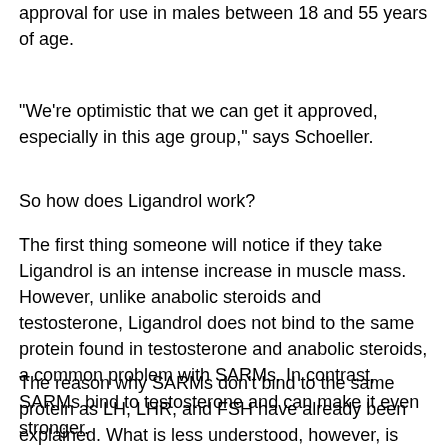approval for use in males between 18 and 55 years of age.
"We're optimistic that we can get it approved, especially in this age group," says Schoeller.
So how does Ligandrol work?
The first thing someone will notice if they take Ligandrol is an intense increase in muscle mass. However, unlike anabolic steroids and testosterone, Ligandrol does not bind to the same protein found in testosterone and anabolic steroids, a common problem with SARMs. In contrast, SARMs bind to testosterone and can make it even stronger.
The reason why SARMs don't bind to the same protein as LH, LHR, and FSH have already been explained. What is less understood, however, is why SARMs are